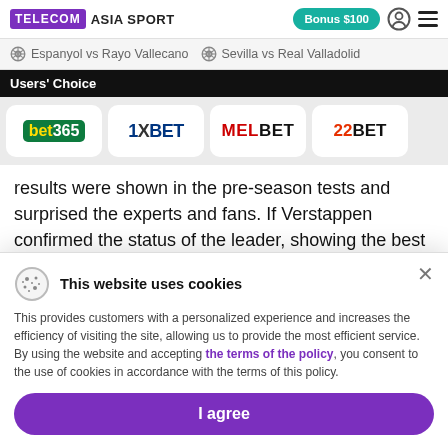TELECOM ASIA SPORT | Bonus $100
Espanyol vs Rayo Vallecano  Sevilla vs Real Valladolid
Users' Choice
[Figure (logo): Bookmaker logos row: bet365, 1XBET, MELBET, 22BET]
results were shown in the pre-season tests and surprised the experts and fans. If Verstappen confirmed the status of the leader, showing the best time among all pilots, then both Mercedes have difficulties - the newcomer of the team George Russell the results of all laps of tests
This website uses cookies
This provides customers with a personalized experience and increases the efficiency of visiting the site, allowing us to provide the most efficient service. By using the website and accepting the terms of the policy, you consent to the use of cookies in accordance with the terms of this policy.
I agree